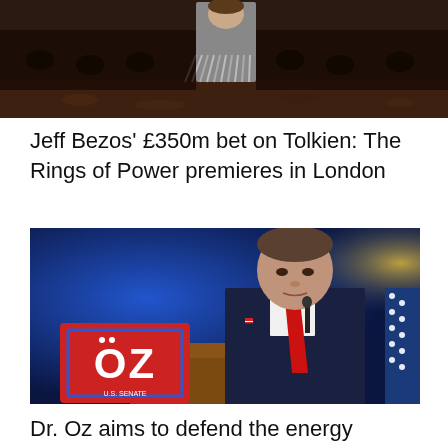[Figure (photo): Fashion show or runway scene with a model in a fringed grey outfit walking on a dark stage, crowd in background.]
Jeff Bezos’ £350m bet on Tolkien: The Rings of Power premieres in London
[Figure (photo): Dr. Oz standing at a podium with a red campaign sign reading OZ US Senate, wearing a dark suit and red tie, blue background lighting.]
Dr. Oz aims to defend the energy industry, which has boosted his nonprofit and Pennsylvania Senate